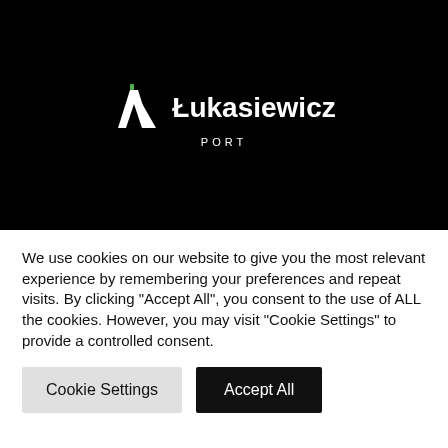[Figure (logo): Łukasiewicz PORT logo on black background — stylized geometric arrow/chevron icon in white with a small green dot, followed by the text 'Łukasiewicz' in white bold and 'PORT' in white spaced letters below]
We use cookies on our website to give you the most relevant experience by remembering your preferences and repeat visits. By clicking "Accept All", you consent to the use of ALL the cookies. However, you may visit "Cookie Settings" to provide a controlled consent.
Cookie Settings    Accept All